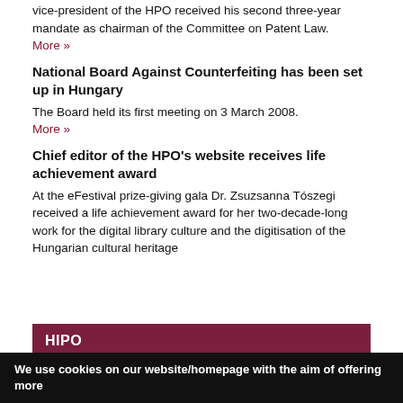vice-president of the HPO received his second three-year mandate as chairman of the Committee on Patent Law.
More »
National Board Against Counterfeiting has been set up in Hungary
The Board held its first meeting on 3 March 2008.
More »
Chief editor of the HPO's website receives life achievement award
At the eFestival prize-giving gala Dr. Zsuzsanna Tószegi received a life achievement award for her two-decade-long work for the digital library culture and the digitisation of the Hungarian cultural heritage
| HIPO |  |
| --- | --- |
| Hungarian Intellectual Property Office | > |
| Patent | > |
| Plant Variety Protection | > |
We use cookies on our website/homepage with the aim of offering more